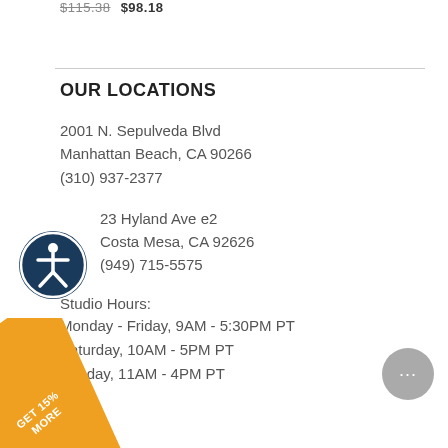$115.38  $98.18
OUR LOCATIONS
2001 N. Sepulveda Blvd
Manhattan Beach, CA 90266
(310) 937-2377
23 Hyland Ave e2
Costa Mesa, CA 92626
(949) 715-5575
Studio Hours:
Monday - Friday, 9AM - 5:30PM PT
Saturday, 10AM - 5PM PT
Sunday, 11AM - 4PM PT